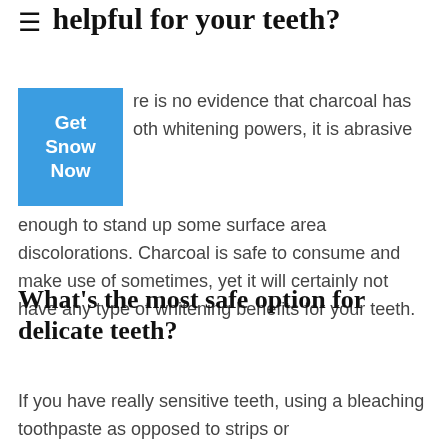Are charcoal lightening items helpful for your teeth?
There is no evidence that charcoal has tooth whitening powers, it is abrasive enough to stand up some surface area discolorations. Charcoal is safe to consume and make use of sometimes, yet it will certainly not have any type of whitening benefits for your teeth.
What’s the most safe option for delicate teeth?
If you have really sensitive teeth, using a bleaching toothpaste as opposed to strips or